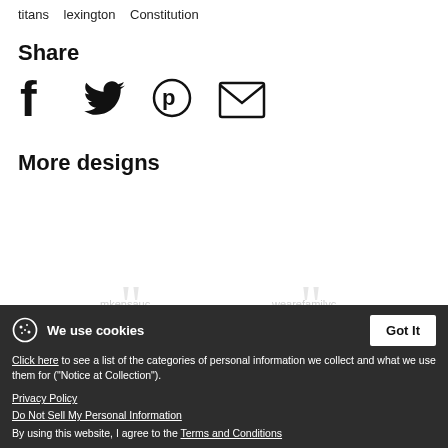titans   lexington   Constitution
Share
[Figure (infographic): Social sharing icons: Facebook, Twitter, Pinterest, Email]
More designs
We use cookies
Click here to see a list of the categories of personal information we collect and what we use them for ("Notice at Collection").
Privacy Policy
Do Not Sell My Personal Information
By using this website, I agree to the Terms and Conditions